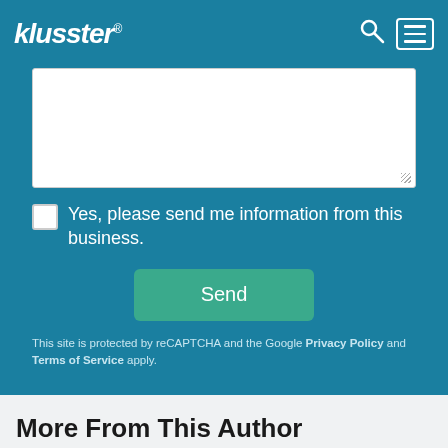klusster®
[Figure (screenshot): Textarea input field (white, resizable) on teal background]
Yes, please send me information from this business.
Send
This site is protected by reCAPTCHA and the Google Privacy Policy and Terms of Service apply.
More From This Author
4.5 ☆☆☆☆☆ [social icons]